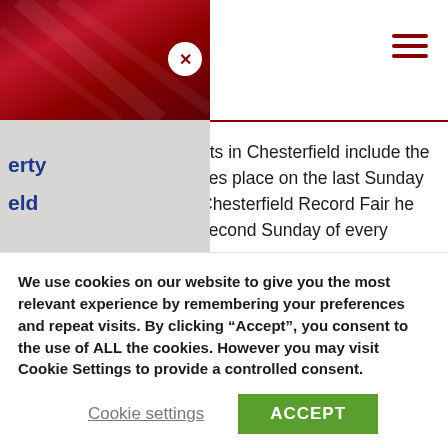[Figure (screenshot): Website screenshot showing a navigation overlay panel on the left with a dark red/crimson header containing a close (X) button, blue navigation links partially visible ('erty', 'eld', 's'), and main page content on the right partially obscured. The main content mentions markets in Chesterfield including events on the last Sunday, Chesterfield Record Fair on the second Sunday, Chesterfield Vegan Market, and the Record Fair. A hamburger menu icon appears top right. A cookie consent banner overlays the bottom.]
ets in Chesterfield include the kes place on the last Sunday Chesterfield Record Fair he second Sunday of every
eld Vegan Market will take hilst the Record Fair takes et.
esterfield Vegan Market are
We use cookies on our website to give you the most relevant experience by remembering your preferences and repeat visits. By clicking “Accept”, you consent to the use of ALL the cookies. However you may visit Cookie Settings to provide a controlled consent.